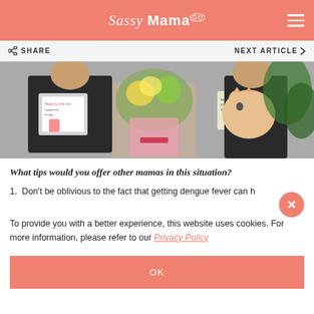Sassy Mama
SHARE   NEXT ARTICLE
[Figure (photo): Two people holding a large flower bouquet and a fluffy orange cat, with handmade Mother's Day cards visible. Outdoor setting with green plants in the background.]
What tips would you offer other mamas in this situation?
1.  Don't be oblivious to the fact that getting dengue fever can h
To provide you with a better experience, this website uses cookies. For more information, please refer to our Privacy Policy
OK